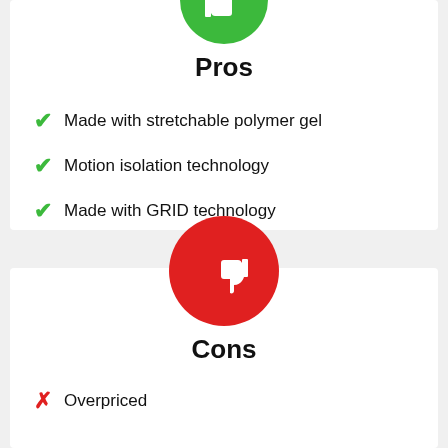Pros
Made with stretchable polymer gel
Motion isolation technology
Made with GRID technology
Cons
Overpriced